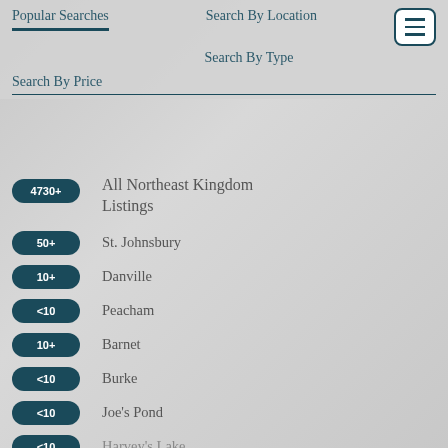Popular Searches | Search By Location | Search By Type | Search By Price
4730+ — All Northeast Kingdom Listings
50+ — St. Johnsbury
10+ — Danville
<10 — Peacham
10+ — Barnet
<10 — Burke
<10 — Joe's Pond
<10 — Harvey's Lake